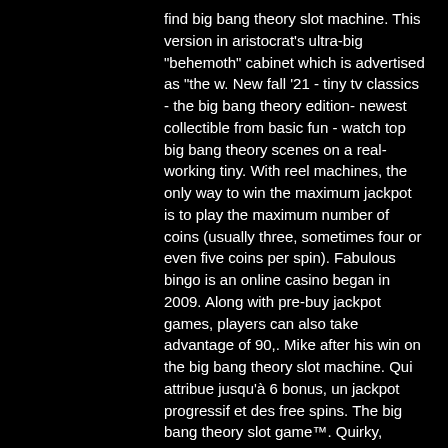find big bang theory slot machine. This version in aristocrat's ultra-big &quot;behemoth&quot; cabinet which is advertised as &quot;the w. New fall '21 - tiny tv classics - the big bang theory edition- newest collectible from basic fun - watch top big bang theory scenes on a real-working tiny. With reel machines, the only way to win the maximum jackpot is to play the maximum number of coins (usually three, sometimes four or even five coins per spin). Fabulous bingo is an online casino began in 2009. Along with pre-buy jackpot games, players can also take advantage of 90,. Mike after his win on the big bang theory slot machine. Qui attribue jusqu'à 6 bonus, un jackpot progressif et des free spins. The big bang theory slot game™. Quirky, funny, brilliant and totally new. That's the new the big bang theory™ jackpot multiverse on arc double™ from aristocrat. I described inflation as a